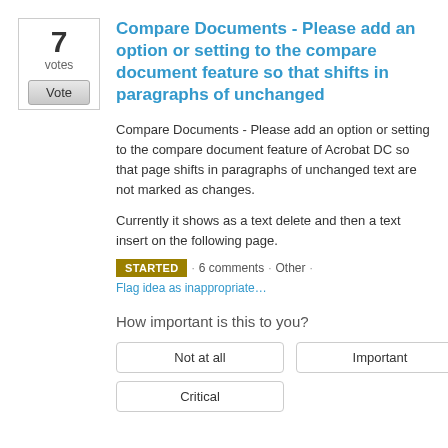[Figure (other): Vote widget showing '7 votes' with a Vote button inside a bordered box]
Compare Documents - Please add an option or setting to the compare document feature so that shifts in paragraphs of unchanged
Compare Documents - Please add an option or setting to the compare document feature of Acrobat DC so that page shifts in paragraphs of unchanged text are not marked as changes.
Currently it shows as a text delete and then a text insert on the following page.
STARTED · 6 comments · Other · Flag idea as inappropriate…
How important is this to you?
Not at all   Important   Critical